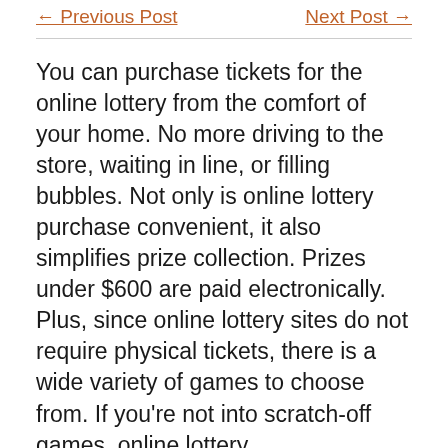← Previous Post    Next Post →
You can purchase tickets for the online lottery from the comfort of your home. No more driving to the store, waiting in line, or filling bubbles. Not only is online lottery purchase convenient, it also simplifies prize collection. Prizes under $600 are paid electronically. Plus, since online lottery sites do not require physical tickets, there is a wide variety of games to choose from. If you're not into scratch-off games, online lottery